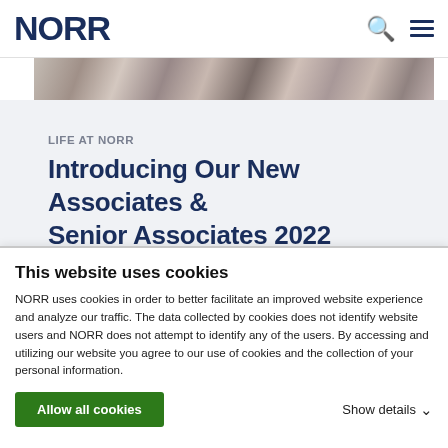NORR
[Figure (photo): Horizontal strip showing a partial banner/hero image with muted warm tones, appearing to show people or architectural elements]
LIFE AT NORR
Introducing Our New Associates & Senior Associates 2022
This website uses cookies
NORR uses cookies in order to better facilitate an improved website experience and analyze our traffic. The data collected by cookies does not identify website users and NORR does not attempt to identify any of the users. By accessing and utilizing our website you agree to our use of cookies and the collection of your personal information.
Allow all cookies
Show details